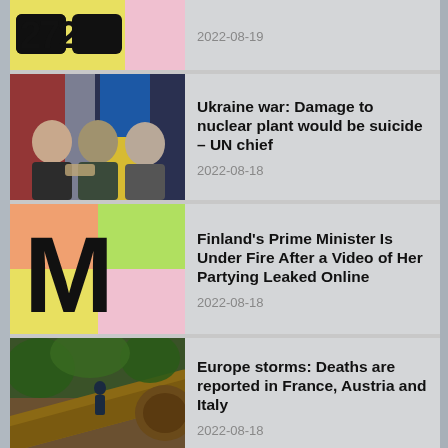[Figure (screenshot): Partial news thumbnail with yellow and pink background and dark stylized text logo]
2022-08-19
[Figure (photo): Three men shaking hands in front of Turkish and Ukrainian flags — appears to be a diplomatic meeting]
Ukraine war: Damage to nuclear plant would be suicide – UN chief
2022-08-18
[Figure (logo): Mashable logo (stylized M) on colorful quadrant background (orange, green, yellow, pink)]
Finland's Prime Minister Is Under Fire After a Video of Her Partying Leaked Online
2022-08-18
[Figure (photo): Storm damage in Europe — fallen tree with people near it]
Europe storms: Deaths are reported in France, Austria and Italy
2022-08-18